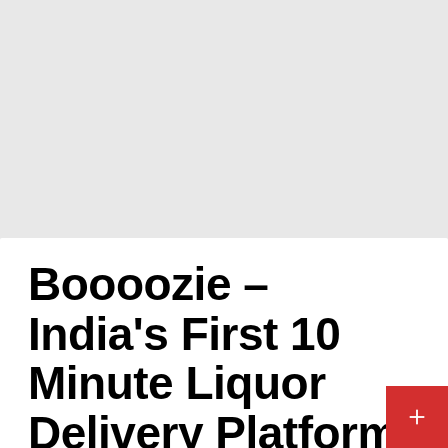Boooozie – India's First 10 Minute Liquor Delivery Platform to launch operations in Kolkata